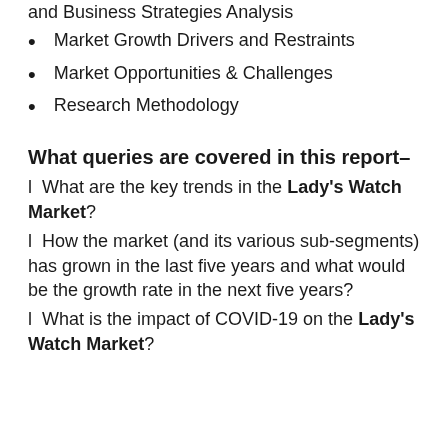and Business Strategies Analysis
Market Growth Drivers and Restraints
Market Opportunities & Challenges
Research Methodology
What queries are covered in this report–
l  What are the key trends in the Lady's Watch Market?
l  How the market (and its various sub-segments) has grown in the last five years and what would be the growth rate in the next five years?
l  What is the impact of COVID-19 on the Lady's Watch Market?